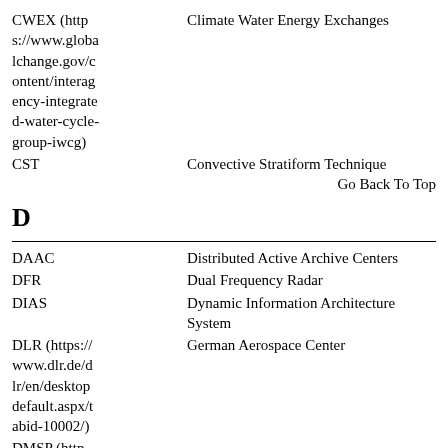CWEX (https://www.globalchange.gov/content/interagency-integrated-water-cycle-group-iwcg)    Climate Water Energy Exchanges
CST    Convective Stratiform Technique
Go Back To Top
D
DAAC    Distributed Active Archive Centers
DFR    Dual Frequency Radar
DIAS    Dynamic Information Architecture System
DLR (https://www.dlr.de/dlr/en/desktopdefault.aspx/tabid-10002/)    German Aerospace Center
DMSP (https://en.wikipedia.org/wiki/